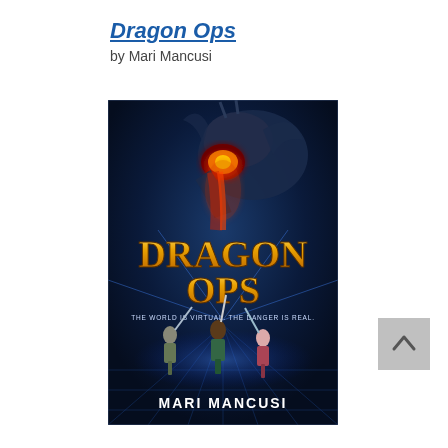Dragon Ops
by Mari Mancusi
[Figure (photo): Book cover of 'Dragon Ops' by Mari Mancusi. Dark fantasy cover featuring a large dragon with glowing red fire at the top, bold gold text reading 'DRAGON OPS' in the center, tagline 'THE WORLD IS VIRTUAL. THE DANGER IS REAL.' below, three characters wielding weapons at the bottom, and 'MARI MANCUSI' at the bottom. Blue and dark atmospheric background.]